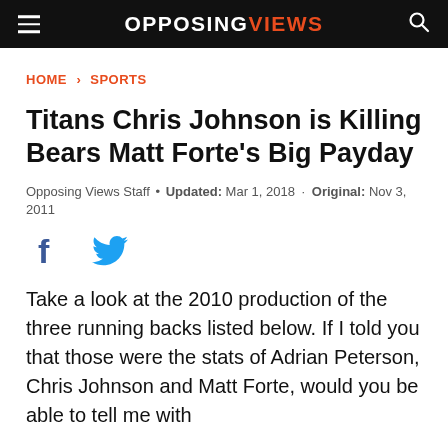OPPOSING VIEWS
HOME › SPORTS
Titans Chris Johnson is Killing Bears Matt Forte's Big Payday
Opposing Views Staff • Updated: Mar 1, 2018 · Original: Nov 3, 2011
[Figure (other): Social media share icons: Facebook and Twitter]
Take a look at the 2010 production of the three running backs listed below. If I told you that those were the stats of Adrian Peterson, Chris Johnson and Matt Forte, would you be able to tell me with